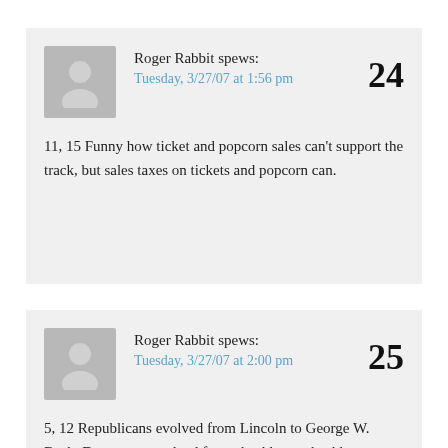Roger Rabbit spews:
Tuesday, 3/27/07 at 1:56 pm
24
11, 15 Funny how ticket and popcorn sales can't support the track, but sales taxes on tickets and popcorn can.
Roger Rabbit spews:
Tuesday, 3/27/07 at 2:00 pm
25
5, 12 Republicans evolved from Lincoln to George W. Bush. Democrats evolved from shackles to shackles.